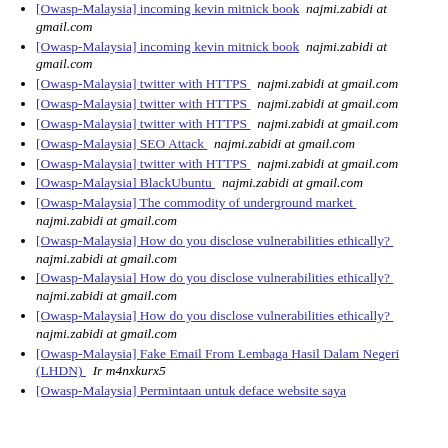[Owasp-Malaysia] incoming kevin mitnick book  najmi.zabidi at gmail.com
[Owasp-Malaysia] incoming kevin mitnick book  najmi.zabidi at gmail.com
[Owasp-Malaysia] twitter with HTTPS   najmi.zabidi at gmail.com
[Owasp-Malaysia] twitter with HTTPS   najmi.zabidi at gmail.com
[Owasp-Malaysia] twitter with HTTPS   najmi.zabidi at gmail.com
[Owasp-Malaysia] SEO Attack   najmi.zabidi at gmail.com
[Owasp-Malaysia] twitter with HTTPS   najmi.zabidi at gmail.com
[Owasp-Malaysia] BlackUbuntu   najmi.zabidi at gmail.com
[Owasp-Malaysia] The commodity of underground market  najmi.zabidi at gmail.com
[Owasp-Malaysia] How do you disclose vulnerabilities ethically?   najmi.zabidi at gmail.com
[Owasp-Malaysia] How do you disclose vulnerabilities ethically?   najmi.zabidi at gmail.com
[Owasp-Malaysia] How do you disclose vulnerabilities ethically?   najmi.zabidi at gmail.com
[Owasp-Malaysia] Fake Email From Lembaga Hasil Dalam Negeri (LHDN)   Ir m4nxkurx5
[Owasp-Malaysia] Permintaan untuk deface website saya